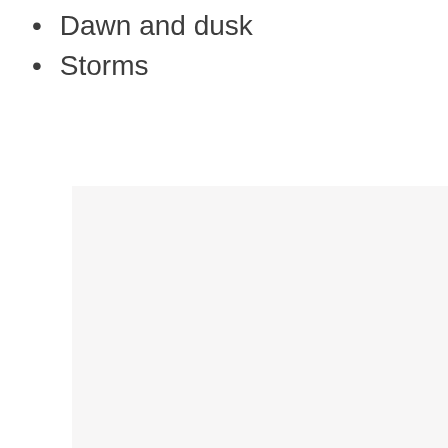Dawn and dusk
Storms
[Figure (photo): A large light gray placeholder image box with three small gray square dots centered near the middle-lower area, indicating a loading or placeholder image.]